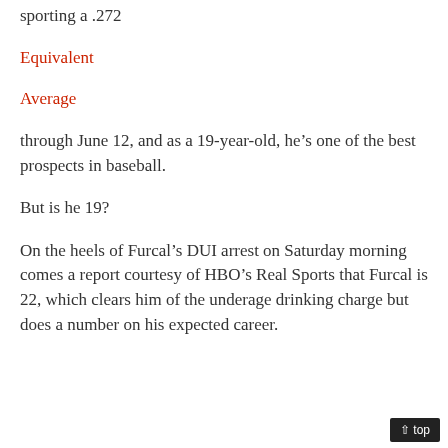sporting a .272
Equivalent
Average
through June 12, and as a 19-year-old, he’s one of the best prospects in baseball.
But is he 19?
On the heels of Furcal’s DUI arrest on Saturday morning comes a report courtesy of HBO’s Real Sports that Furcal is 22, which clears him of the underage drinking charge but does a number on his expected career.